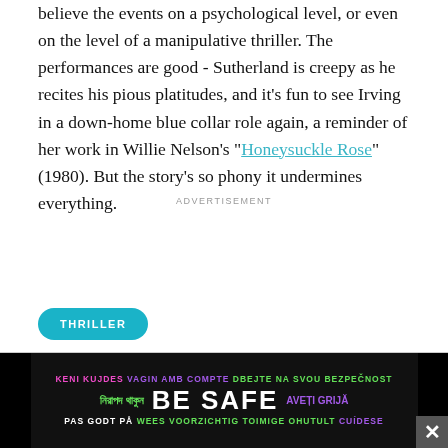believe the events on a psychological level, or even on the level of a manipulative thriller. The performances are good - Sutherland is creepy as he recites his pious platitudes, and it's fun to see Irving in a down-home blue collar role again, a reminder of her work in Willie Nelson's "Honeysuckle Rose" (1980). But the story's so phony it undermines everything.
ADVERTISEMENT
THRILLER
[Figure (other): BE SAFE multilingual advertisement banner with text in multiple languages including: KENI KUJDES, VAGIN AMB COMPTE, DBEJTE NA SVOU BEZPECNOST, Bengali script, BE SAFE, AVETI GRIJA, PAS GODT PA, WEES VOORZICHTIG, TOIMIGE OHUTULT, CUIDESE]